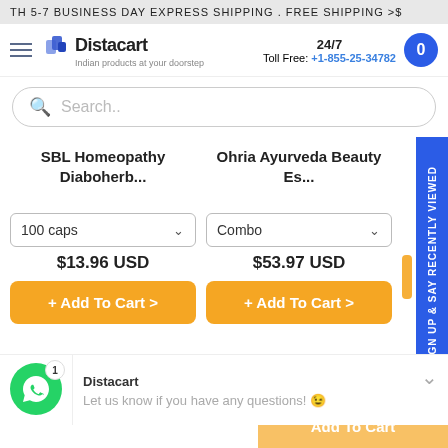TH 5-7 BUSINESS DAY EXPRESS SHIPPING . FREE SHIPPING >$
[Figure (logo): Distacart logo with shopping bag icon and tagline 'Indian products at your doorstep']
24/7 Toll Free: +1-855-25-34782
Search..
SBL Homeopathy Diaboherb...
Ohria Ayurveda Beauty Es...
100 caps
Combo
$13.96 USD
$53.97 USD
+ Add To Cart >
+ Add To Cart >
Sign up & say RECENTLY VIEWED
Distacart
Let us know if you have any questions! 😊
Add To Cart